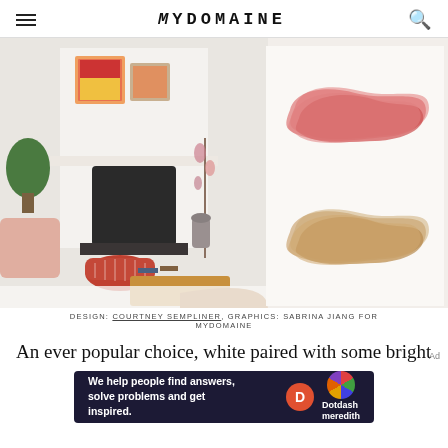MYDOMAINE
[Figure (photo): Living room interior with white fireplace, colorful patterned ottoman, pink chair, leather sofa, and wall art above mantle. Beside the photo are two paint color swatches — a coral/red-pink brush stroke and a tan/golden-brown brush stroke.]
DESIGN: COURTNEY SEMPLINER, GRAPHICS: SABRINA JIANG FOR MYDOMAINE
An ever popular choice, white paired with some bright
[Figure (logo): Dotdash Meredith advertisement banner: 'We help people find answers, solve problems and get inspired.']